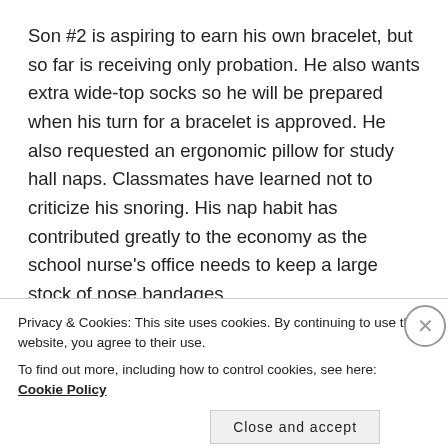Son #2 is aspiring to earn his own bracelet, but so far is receiving only probation. He also wants extra wide-top socks so he will be prepared when his turn for a bracelet is approved. He also requested an ergonomic pillow for study hall naps. Classmates have learned not to criticize his snoring. His nap habit has contributed greatly to the economy as the school nurse's office needs to keep a large stock of nose bandages.
Privacy & Cookies: This site uses cookies. By continuing to use this website, you agree to their use.
To find out more, including how to control cookies, see here: Cookie Policy
Close and accept
everything you need.